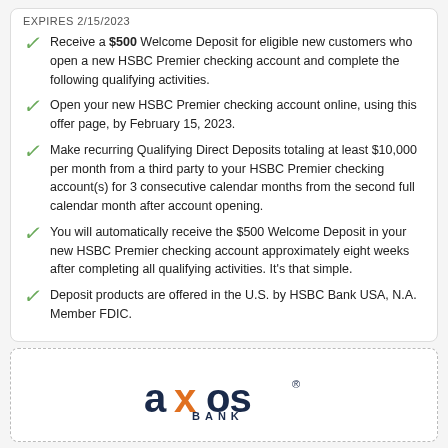EXPIRES 2/15/2023
Receive a $500 Welcome Deposit for eligible new customers who open a new HSBC Premier checking account and complete the following qualifying activities.
Open your new HSBC Premier checking account online, using this offer page, by February 15, 2023.
Make recurring Qualifying Direct Deposits totaling at least $10,000 per month from a third party to your HSBC Premier checking account(s) for 3 consecutive calendar months from the second full calendar month after account opening.
You will automatically receive the $500 Welcome Deposit in your new HSBC Premier checking account approximately eight weeks after completing all qualifying activities. It's that simple.
Deposit products are offered in the U.S. by HSBC Bank USA, N.A. Member FDIC.
[Figure (logo): Axos Bank logo with orange X and dark navy text, BANK subtitle]